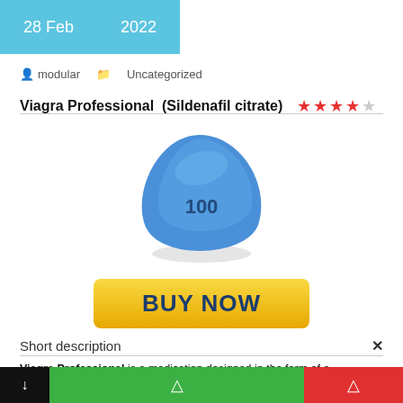28 Feb   2022
modular   Uncategorized
Viagra Professional  (Sildenafil citrate)  ★★★★☆
[Figure (photo): Blue triangular Viagra Professional pill labeled '100']
[Figure (infographic): Yellow 'BUY NOW' button]
Short description
Viagra Professional is a medication designed in the form of a sublingual pill for erectile dysfunction, caused by insufficient blood flow to the penile area. It relaxes the smooth muscles present in the wall of blood vessels and helps in increasing the